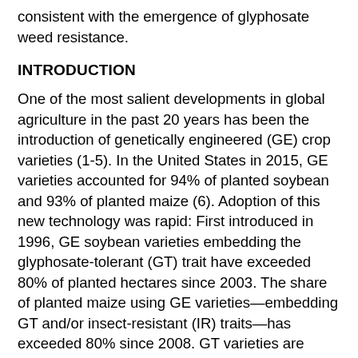consistent with the emergence of glyphosate weed resistance.
INTRODUCTION
One of the most salient developments in global agriculture in the past 20 years has been the introduction of genetically engineered (GE) crop varieties (1-5). In the United States in 2015, GE varieties accounted for 94% of planted soybean and 93% of planted maize (6). Adoption of this new technology was rapid: First introduced in 1996, GE soybean varieties embedding the glyphosate-tolerant (GT) trait have exceeded 80% of planted hectares since 2003. The share of planted maize using GE varieties—embedding GT and/or insect-resistant (IR) traits—has exceeded 80% since 2008. GT varieties are complementary inputs with glyphosate, and their adoption has inevitably led to substitution away from other herbicides (7). Conversely, IR varieties can substitute for the use of insecticides, conceivably leading to lower pesticide use. Because pesticides have implications for human health and ecological diversity, factors that affect their use are of